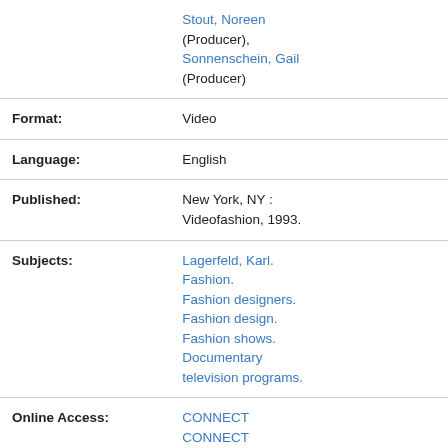| Field | Value |
| --- | --- |
|  | Stout, Noreen (Producer),
Sonnenschein, Gail (Producer) |
| Format: | Video |
| Language: | English |
| Published: | New York, NY : Videofashion, 1993. |
| Subjects: | Lagerfeld, Karl.
Fashion.
Fashion designers.
Fashion design.
Fashion shows.
Documentary television programs. |
| Online Access: | CONNECT
CONNECT |